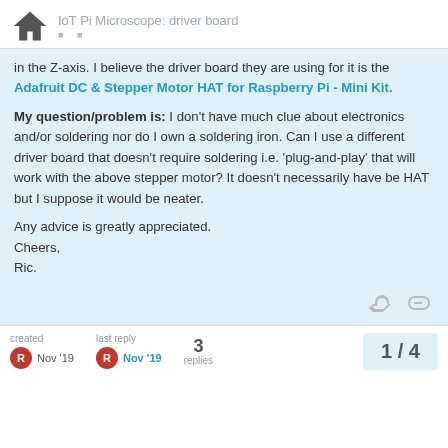IoT Pi Microscope: driver board
in the Z-axis. I believe the driver board they are using for it is the Adafruit DC & Stepper Motor HAT for Raspberry Pi - Mini Kit.
My question/problem is: I don't have much clue about electronics and/or soldering nor do I own a soldering iron. Can I use a different driver board that doesn't require soldering i.e. 'plug-and-play' that will work with the above stepper motor? It doesn't necessarily have be HAT but I suppose it would be neater.
Any advice is greatly appreciated.
Cheers,
Ric.
created Nov '19  last reply Nov '19  3 replies  1/4